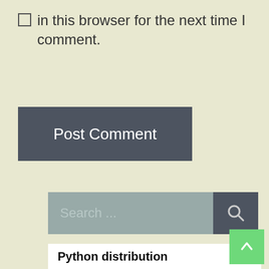in this browser for the next time I comment.
[Figure (screenshot): Post Comment button - dark grey rectangular button with white text]
[Figure (screenshot): Search bar with grey input field showing 'Search ...' placeholder and dark grey search button with magnifying glass icon]
[Figure (screenshot): Advertisement box showing 'Python distribution' with ad close icons and green back-to-top button in bottom right corner]